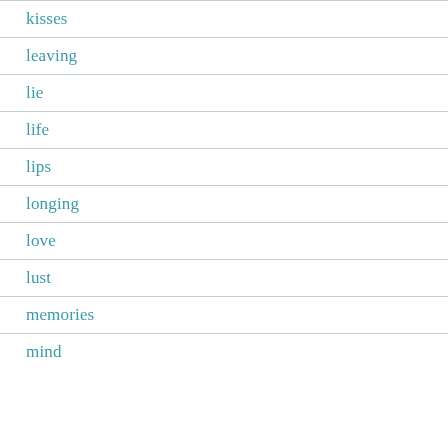kisses
leaving
lie
life
lips
longing
love
lust
memories
mind